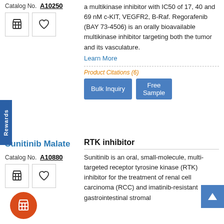Catalog No.  A10250
a multikinase inhibitor with IC50 of 17, 40 and 69 nM c-KIT, VEGFR2, B-Raf. Regorafenib (BAY 73-4506) is an orally bioavailable multikinase inhibitor targeting both the tumor and its vasculature.
Learn More
Product Citations (6)
Bulk Inquiry
Free Sample
Sunitinib Malate
Catalog No.  A10880
RTK inhibitor
Sunitinib is an oral, small-molecule, multi-targeted receptor tyrosine kinase (RTK) inhibitor for the treatment of renal cell carcinoma (RCC) and imatinib-resistant gastrointestinal stromal